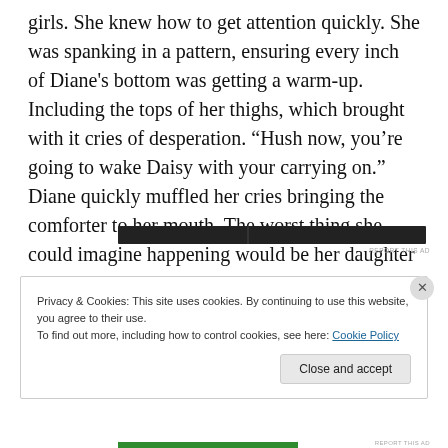girls. She knew how to get attention quickly. She was spanking in a pattern, ensuring every inch of Diane’s bottom was getting a warm-up.  Including the tops of her thighs, which brought with it cries of desperation. “Hush now, you’re going to wake Daisy with your carrying on.” Diane quickly muffled her cries bringing the comforter to her mouth. The worst thing she could imagine happening would be her daughter walking in.
[Figure (other): Dark advertisement banner bar]
REPORT THIS AD
Privacy & Cookies: This site uses cookies. By continuing to use this website, you agree to their use.
To find out more, including how to control cookies, see here: Cookie Policy
Close and accept